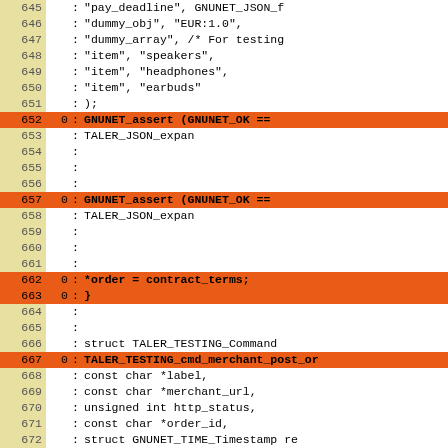Code coverage listing lines 645-675, showing line numbers, coverage counts, and source code for a C program involving TALER/GNUNET functions.